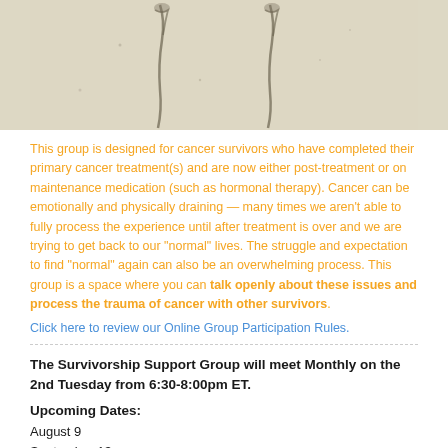[Figure (photo): Faded sketch/artwork showing two vertical figure-like forms on a light beige textured background]
This group is designed for cancer survivors who have completed their primary cancer treatment(s) and are now either post-treatment or on maintenance medication (such as hormonal therapy). Cancer can be emotionally and physically draining — many times we aren't able to fully process the experience until after treatment is over and we are trying to get back to our "normal" lives. The struggle and expectation to find "normal" again can also be an overwhelming process. This group is a space where you can talk openly about these issues and process the trauma of cancer with other survivors.
Click here to review our Online Group Participation Rules.
The Survivorship Support Group will meet Monthly on the 2nd Tuesday from 6:30-8:00pm ET.
Upcoming Dates:
August 9
September 13
October 11
November 8